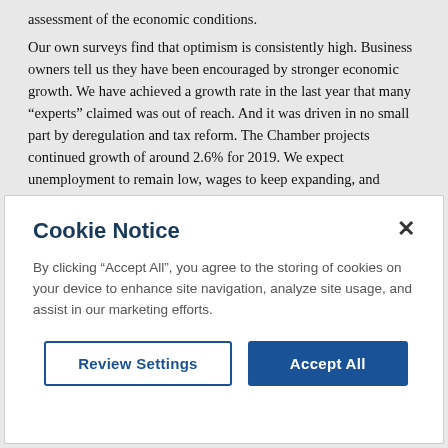assessment of the economic conditions. Our own surveys find that optimism is consistently high. Business owners tell us they have been encouraged by stronger economic growth. We have achieved a growth rate in the last year that many “experts” claimed was out of reach. And it was driven in no small part by deregulation and tax reform. The Chamber projects continued growth of around 2.6% for 2019. We expect unemployment to remain low, wages to keep expanding, and inflation in range of the Fed’s target of 2%.
Cookie Notice
By clicking “Accept All”, you agree to the storing of cookies on your device to enhance site navigation, analyze site usage, and assist in our marketing efforts.
Review Settings | Accept All